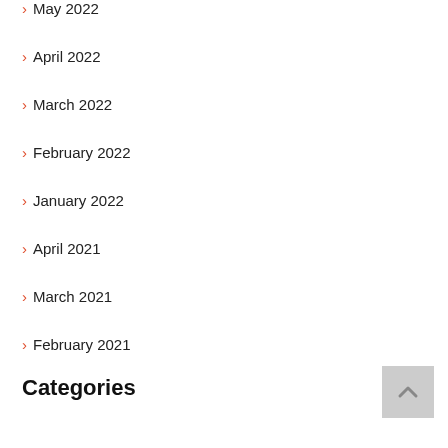May 2022
April 2022
March 2022
February 2022
January 2022
April 2021
March 2021
February 2021
Categories
Advertising & Marketing
Arts & Entertainment
Auto & Motor
Business Products & Services